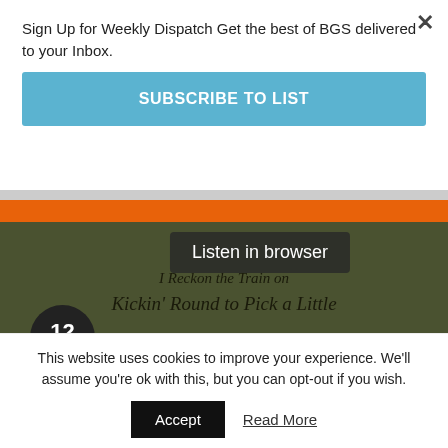Sign Up for Weekly Dispatch Get the best of BGS delivered to your Inbox.
SUBSCRIBE TO LIST
[Figure (photo): Album cover image with dark olive/green textured background, orange bar at top, script text reading 'Listen the Train on Kickin' Round to Pick a Little', and a circular badge showing '12 TRACKS'. Overlaid with a 'Listen in browser' tooltip badge.]
Privacy policy
This website uses cookies to improve your experience. We'll assume you're ok with this, but you can opt-out if you wish.
Accept
Read More